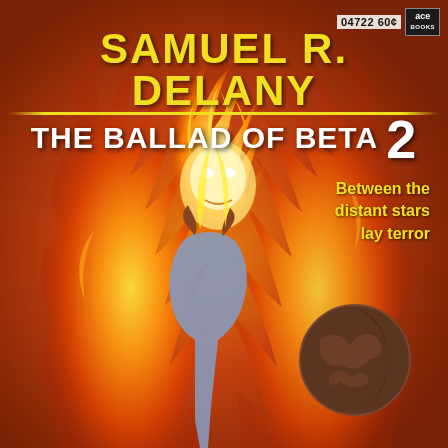04722 60¢
[Figure (illustration): Vintage science fiction paperback book cover. Background is warm orange-red. Central illustration shows a fiery humanoid figure with a face made of flame rising above a nude female figure seen from behind. A dark planet or moon is visible in the lower right area. The overall palette is orange, red, yellow, and dark brown.]
SAMUEL R. DELANY
THE BALLAD OF BETA 2
Between the distant stars lay terror